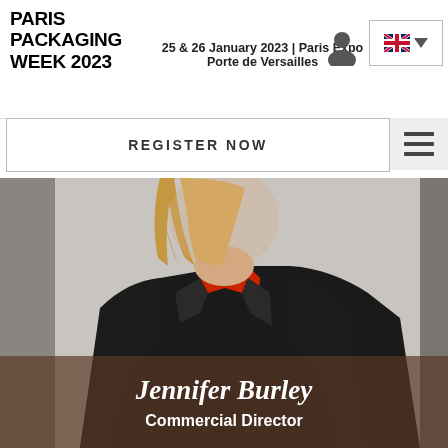PARIS PACKAGING WEEK 2023 | 25 & 26 January 2023 | Paris Expo Porte de Versailles
REGISTER NOW
[Figure (photo): Professional woman with blonde hair wearing a black blazer over a red top, photographed from shoulders/chest up against a light background]
Jennifer Burley
Commercial Director